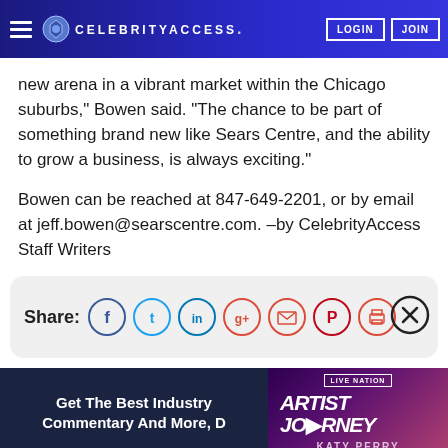CELEBRITYACCESS. LOGIN JOIN
new arena in a vibrant market within the Chicago suburbs," Bowen said. "The chance to be part of something brand new like Sears Centre, and the ability to grow a business, is always exciting."
Bowen can be reached at 847-649-2201, or by email at jeff.bowen@searscentre.com. –by CelebrityAccess Staff Writers
[Figure (infographic): Share bar with social media icons: Facebook, Twitter, LinkedIn, Google+, Email, Pinterest, Print. Close button (X) on the right.]
[Figure (infographic): Bottom section: left dark blue panel with text 'Get The Best Industry Commentary And More, D...'. Right panel shows Live Nation 'Artist Journey' Katy Perry promotional image with purple/pink background.]